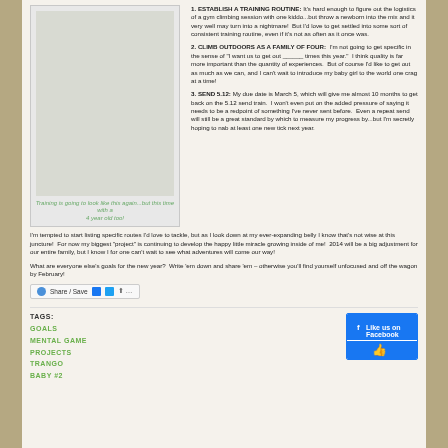[Figure (photo): Photo frame with light gray background representing a climbing/training photo]
Training is going to look like this again...but this time with a 4 year old too!
1. ESTABLISH A TRAINING ROUTINE: It's hard enough to figure out the logistics of a gym climbing session with one kiddo...but throw a newborn into the mix and it very well may turn into a nightmare! But I'd love to get settled into some sort of consistent training routine, even if it's not as often as it once was.
2. CLIMB OUTDOORS AS A FAMILY OF FOUR: I'm not going to get specific in the sense of "I want us to get out _____ times this year." I think quality is far more important than the quantity of experiences. But of course I'd like to get out as much as we can, and I can't wait to introduce my baby girl to the world one crag at a time!
3. SEND 5.12: My due date is March 5, which will give me almost 10 months to get back on the 5.12 send train. I won't even put on the added pressure of saying it needs to be a redpoint of something I've never sent before. Even a repeat send will still be a great standard by which to measure my progress by...but I'm secretly hoping to nab at least one new tick next year.
I'm tempted to start listing specific routes I'd love to tackle, but as I look down at my ever-expanding belly I know that's not wise at this juncture! For now my biggest "project" is continuing to develop the happy little miracle growing inside of me! 2014 will be a big adjustment for our entire family, but I know I for one can't wait to see what adventures will come our way!
What are everyone else's goals for the new year? Write 'em down and share 'em – otherwise you'll find yourself unfocused and off the wagon by February!
[Figure (screenshot): Share/Save social media sharing bar with icons for Facebook, Twitter, and other sharing options]
TAGS:
GOALS
MENTAL GAME
PROJECTS
TRANGO
BABY #2
[Figure (screenshot): Facebook like widget showing thumbs up icon]